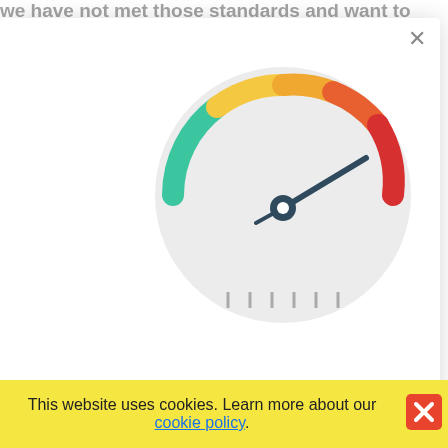we have not met those standards and want to
forecasts: f 2022 and 2023
onal Forecast Update
owest and consensus world's biggest
[Figure (infographic): A speedometer/gauge infographic showing a needle pointing toward the high (red) end of the scale. The gauge has colored bands: teal/green on the left, yellow in the middle, red on the right. Below the gauge are tick marks.]
ecasts from the ames such as Citi, JP Standard Chartered and
more
If we you the 20 or
site is d to views ts -
d ot hly
Our nd
This website uses cookies. Learn more about our cookie policy.